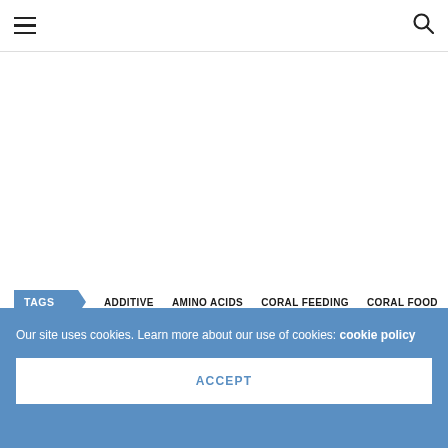Navigation header with hamburger menu and search icon
TAGS  ADDITIVE  AMINO ACIDS  CORAL FEEDING  CORAL FOOD  CORAL SYSTEM  KORALLEN ZUCHT  NEWS  SUPPLEMENT
Our site uses cookies. Learn more about our use of cookies: cookie policy
ACCEPT